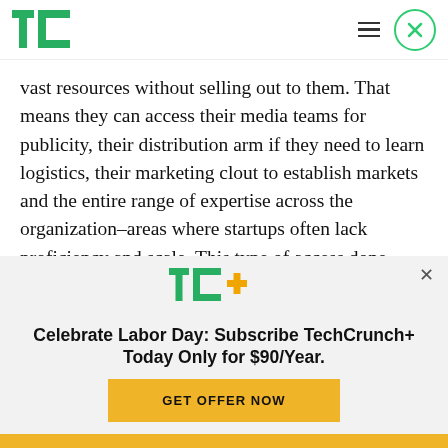TechCrunch (TC logo, hamburger menu, close button)
vast resources without selling out to them. That means they can access their media teams for publicity, their distribution arm if they need to learn logistics, their marketing clout to establish markets and the entire range of expertise across the organization–areas where startups often lack proficiency and scale. This type of access done
[Figure (logo): TC+ logo — 'TC' in green block letters with '+' in orange/yellow, TechCrunch+ subscription service logo]
Celebrate Labor Day: Subscribe TechCrunch+ Today Only for $90/Year.
GET OFFER NOW